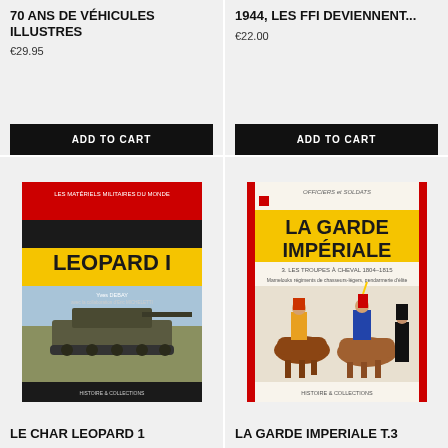70 ANS DE VÉHICULES ILLUSTRES
€29.95
ADD TO CART
1944, LES FFI DEVIENNENT...
€22.00
ADD TO CART
[Figure (photo): Book cover: LE CHAR LEOPARD 1 - shows a Leopard 1 tank in a field, with yellow text on red/black background]
LE CHAR LEOPARD 1
[Figure (photo): Book cover: LA GARDE IMPERIALE T.3 - shows Napoleonic cavalry soldiers on horseback, colorful illustration]
LA GARDE IMPERIALE T.3